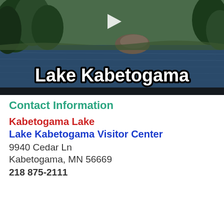[Figure (screenshot): Video thumbnail of Lake Kabetogama aerial/scenic view with trees, water, and rocks. A play button triangle is visible at the top center. Large bold white text with black outline reads 'Lake Kabetogama' at the bottom of the thumbnail.]
Contact Information
Kabetogama Lake
Lake Kabetogama Visitor Center
9940 Cedar Ln
Kabetogama, MN 56669
218 875-2111